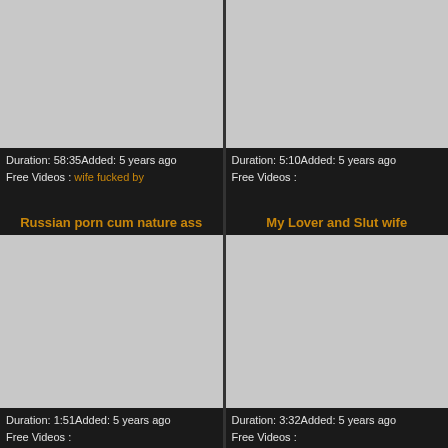[Figure (photo): Gray placeholder thumbnail top left]
Duration: 58:35Added: 5 years ago
Free Videos : wife fucked by
[Figure (photo): Gray placeholder thumbnail top right]
Duration: 5:10Added: 5 years ago
Free Videos :
Russian porn cum nature ass
My Lover and Slut wife
[Figure (photo): Gray placeholder thumbnail bottom left]
Duration: 1:51Added: 5 years ago
Free Videos :
[Figure (photo): Gray placeholder thumbnail bottom right]
Duration: 3:32Added: 5 years ago
Free Videos :